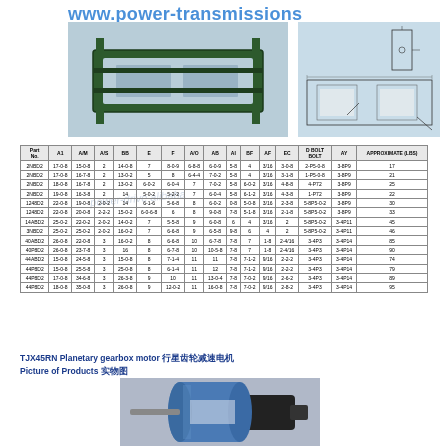www.power-transmissions
[Figure (photo): Motor base / mounting frame product photo, dark green metal frame on light blue background]
[Figure (engineering-diagram): Engineering technical drawing of motor mounting base with dimensions]
| Part No. | A1 | A/M | A/S | BB | E | F | A/O | AB | AI | BF | AF | EC | D BOLT BOLT | AY | APPROXIMATE (LBS) |
| --- | --- | --- | --- | --- | --- | --- | --- | --- | --- | --- | --- | --- | --- | --- | --- |
| 2NBD2 | 17-0-8 | 15-0-8 | 2 | 14-0-8 | 7 | 8-0-9 | 6-8-8 | 6-0-9 | 5-8 | 4 | 3/16 | 3-0-8 | 2-P5-0-8 | 3-8P9 | 17 |
| 2NBD2 | 17-0-8 | 16-7-8 | 2 | 13-0-2 | 5 | 8 | 6-4-4 | 7-0-2 | 5-8 | 4 | 3/16 | 3-1-8 | 1-P5-0-8 | 3-8P9 | 21 |
| 2NBD2 | 18-0-8 | 16-7-8 | 2 | 13-0-2 | 6-0-2 | 6-0-4 | 7 | 7-0-2 | 5-8 | 6-0-2 | 3/16 | 4-8-8 | 4-P72 | 3-8P9 | 25 |
| 2NBD2 | 19-0-8 | 16-3-8 | 2 | 14 | 5-0-2 | 5-2-2 | 7 | 6-0-4 | 5-8 | 6-1-2 | 3/16 | 4-3-8 | 1-P72 | 3-8P9 | 22 |
| 1248D2 | 22-0-8 | 19-0-8 | 2-0-2 | 14 | 6-1-6 | 5-6-8 | 8 | 6-0-2 | 0-8 | 5-0-8 | 3/16 | 2-3-8 | 5-8P5-0-2 | 3-8P9 | 30 |
| 1248D2 | 22-0-8 | 20-0-8 | 2-2-2 | 15-0-2 | 6-0-6-8 | 6 | 8 | 9-0-8 | 7-8 | 5-1-8 | 3/16 | 2-1-8 | 5-8P5-0-2 | 3-8P9 | 33 |
| 14ABD2 | 25-0-2 | 22-0-2 | 2-0-2 | 14-0-2 | 7 | 5-5-8 | 9 | 6-0-8 | 6 | 4 | 3/16 | 2 | 5-8P5-0-2 | 3-4P11 | 45 |
| 3NBD2 | 25-0-2 | 25-0-2 | 2-0-2 | 16-0-2 | 7 | 6-6-8 | 9 | 6-5-8 | 9-8 | 6 | 4 | 2 | 5-8P5-0-2 | 3-4P11 | 46 |
| 40ABD2 | 26-0-8 | 22-0-8 | 3 | 16-0-2 | 8 | 6-6-8 | 10 | 6-7-8 | 7-8 | 7 | 1-8 | 2-4/16 | 3-4P3 | 3-4P14 | 85 |
| 40P8D2 | 26-0-8 | 23-7-8 | 3 | 16 | 8 | 6-7-8 | 10 | 10-5-8 | 7-8 | 7 | 1-8 | 2-4/16 | 3-4P3 | 3-4P14 | 90 |
| 44ABD2 | 15-0-8 | 24-5-8 | 3 | 15-0-8 | 8 | 7-1-4 | 11 | 11 | 7-8 | 7-1-2 | 9/16 | 2-2-2 | 3-4P3 | 3-4P14 | 74 |
| 44P8D2 | 15-0-8 | 25-5-8 | 3 | 25-0-8 | 8 | 6-1-4 | 11 | 12 | 7-8 | 7-1-2 | 9/16 | 2-2-2 | 3-4P3 | 3-4P14 | 79 |
| 44P8D2 | 17-0-8 | 34-6-8 | 3 | 26-3-8 | 9 | 10 | 11 | 13-0-4 | 7-8 | 7-0-2 | 9/16 | 2-6-2 | 3-4P3 | 3-4P14 | 89 |
| 44P8D2 | 18-0-8 | 35-0-8 | 3 | 26-0-8 | 9 | 12-0-2 | 11 | 16-0-8 | 7-8 | 7-0-2 | 9/16 | 2-8-2 | 3-4P3 | 3-4P14 | 95 |
TJX45RN Planetary gearbox motor 行星齿轮减速电机
Picture of Products 实物图
[Figure (photo): Planetary gearbox motor product photo showing blue cylindrical motor with black gearbox]